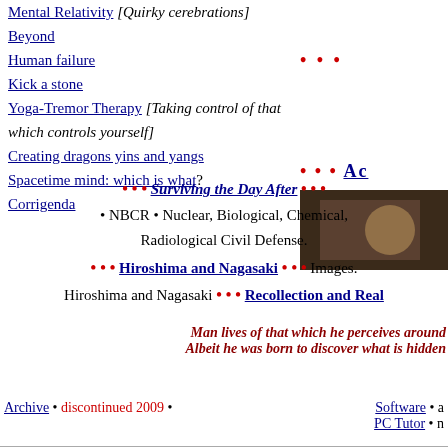Mental Relativity [Quirky cerebrations]
Beyond
Human failure
Kick a stone
Yoga-Tremor Therapy [Taking control of that which controls yourself]
Creating dragons yins and yangs
Spacetime mind: which is what?
Corrigenda
• • • Surviving the Day After • • •
• NBCR • Nuclear, Biological, Chemical, Radiological Civil Defense.
• • • Hiroshima and Nagasaki • • • Images.
Hiroshima and Nagasaki • • • Recollection and Rea…
Man lives of that which he perceives around… Albeit he was born to discover what is hidden…
Archive • discontinued 2009 •    Software • a… PC Tutor • n…